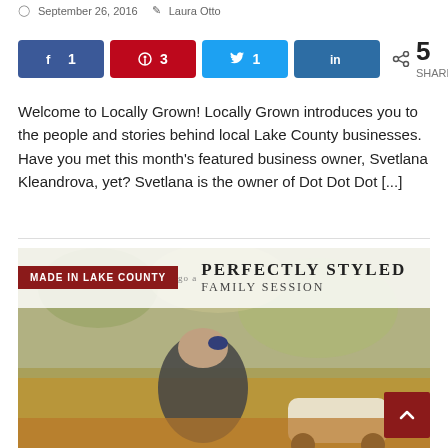September 26, 2016   Laura Otto
[Figure (infographic): Social share buttons row: Facebook (1), Pinterest (3), Twitter (1), LinkedIn, plus total 5 SHARES with share icon]
Welcome to Locally Grown! Locally Grown introduces you to the people and stories behind local Lake County businesses. Have you met this month’s featured business owner, Svetlana Kleandrova, yet? Svetlana is the owner of Dot Dot Dot [...]
[Figure (photo): Photo of a young child in a houndstooth outfit leaning over a vintage toy car outdoors among autumn leaves. Overlay text reads: MADE IN LAKE COUNTY / go a PERFECTLY STYLED / FAMILY SESSION]